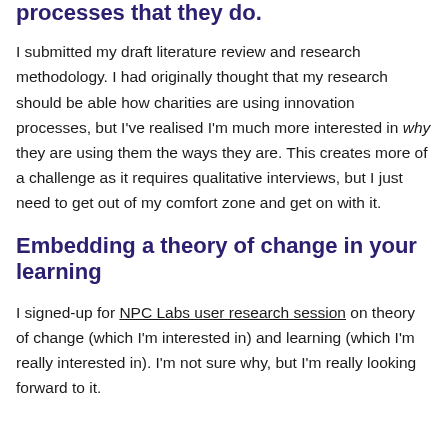processes that they do.
I submitted my draft literature review and research methodology. I had originally thought that my research should be able how charities are using innovation processes, but I've realised I'm much more interested in why they are using them the ways they are. This creates more of a challenge as it requires qualitative interviews, but I just need to get out of my comfort zone and get on with it.
Embedding a theory of change in your learning
I signed-up for NPC Labs user research session on theory of change (which I'm interested in) and learning (which I'm really interested in). I'm not sure why, but I'm really looking forward to it.